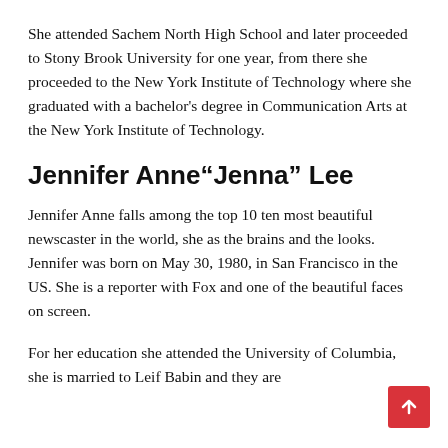She attended Sachem North High School and later proceeded to Stony Brook University for one year, from there she proceeded to the New York Institute of Technology where she graduated with a bachelor's degree in Communication Arts at the New York Institute of Technology.
Jennifer Anne“Jenna” Lee
Jennifer Anne falls among the top 10 ten most beautiful newscaster in the world, she as the brains and the looks. Jennifer was born on May 30, 1980, in San Francisco in the US. She is a reporter with Fox and one of the beautiful faces on screen.
For her education she attended the University of Columbia, she is married to Leif Babin and they are